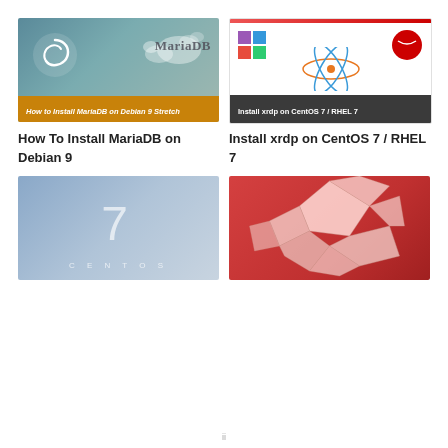[Figure (screenshot): MariaDB installation thumbnail on Debian 9 Stretch, teal background with sea lion and Debian swirl logo, orange bar at bottom reading 'How to Install MariaDB on Debian 9 Stretch']
How To Install MariaDB on Debian 9
[Figure (screenshot): Install xrdp on CentOS 7 / RHEL 7 tutorial thumbnail, white background with CentOS atom logo and Red Hat logo, dark bar at bottom reading 'Install xrdp on CentOS 7 / RHEL 7']
Install xrdp on CentOS 7 / RHEL 7
[Figure (screenshot): CentOS 7 thumbnail, blue-grey gradient background with large '7' numeral and 'CENTOS' text at bottom]
[Figure (illustration): Ubuntu origami lion on red background, geometric folded paper lion shape in white/light pink]